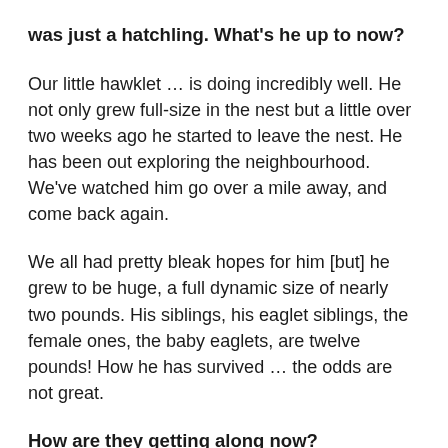was just a hatchling. What's he up to now?
Our little hawklet … is doing incredibly well. He not only grew full-size in the nest but a little over two weeks ago he started to leave the nest. He has been out exploring the neighbourhood. We've watched him go over a mile away, and come back again.
We all had pretty bleak hopes for him [but] he grew to be huge, a full dynamic size of nearly two pounds. His siblings, his eaglet siblings, the female ones, the baby eaglets, are twelve pounds! How he has survived … the odds are not great.
How are they getting along now?
They're all flying.